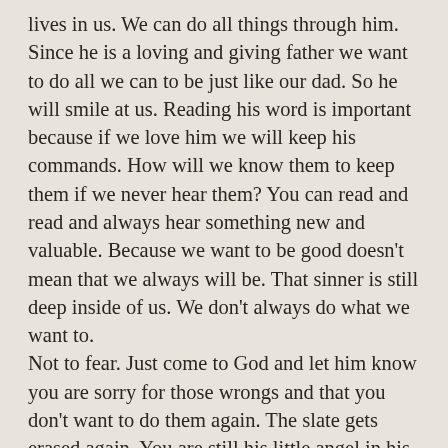lives in us. We can do all things through him. Since he is a loving and giving father we want to do all we can to be just like our dad. So he will smile at us. Reading his word is important because if we love him we will keep his commands. How will we know them to keep them if we never hear them? You can read and read and always hear something new and valuable. Because we want to be good doesn't mean that we always will be. That sinner is still deep inside of us. We don't always do what we want to. Not to fear. Just come to God and let him know you are sorry for those wrongs and that you don't want to do them again. The slate gets erased again. You are still his little angel in his eyes. But you have to mean it totally in your heart. When you are tempted to sin there is always a way out if you look the Spirit will help you to resist the temptation. That is what he is there for. He will remind you of God's word.